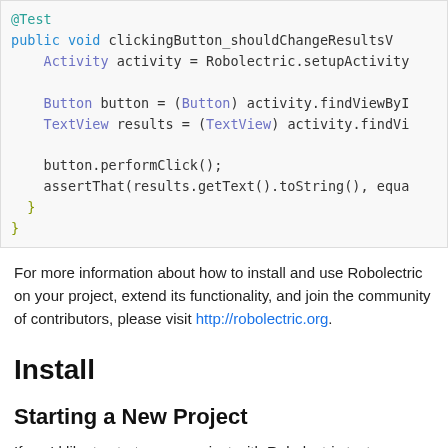[Figure (screenshot): Code block showing Java test method snippet with @Test annotation, Activity activity = Robolectric.setupActivity, Button button = (Button) activity.findViewById, TextView results = (TextView) activity.findVi, button.performClick();, assertThat(results.getText().toString(), equa, closing braces]
For more information about how to install and use Robolectric on your project, extend its functionality, and join the community of contributors, please visit http://robolectric.org.
Install
Starting a New Project
If you'd like to start a new project with Robolectric tests you